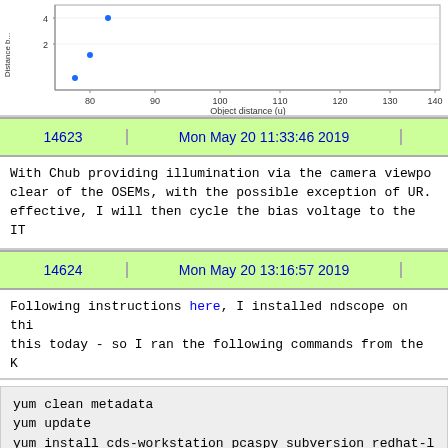[Figure (continuous-plot): Scatter plot showing Distance b (y-axis, range ~1-4) vs Object distance (u) (x-axis, range ~80-140). A few data points visible in upper left region.]
| 14623 | Mon May 20 11:33:46 2019 |  |
| --- | --- | --- |
With Chub providing illumination via the camera viewport, clear of the OSEMs, with the possible exception of UR. effective, I will then cycle the bias voltage to the IT
| 14624 | Mon May 20 13:16:57 2019 |  |
| --- | --- | --- |
Following instructions here, I installed ndscope on this today - so I ran the following commands from the K
yum clean metadata
yum update
yum install cds-workstation pcaspy subversion redhat-l
Now diaggui can be opened, and spectra can be made. I'm
Quote:
• now running 'yum install gds-all' to see if we need mo